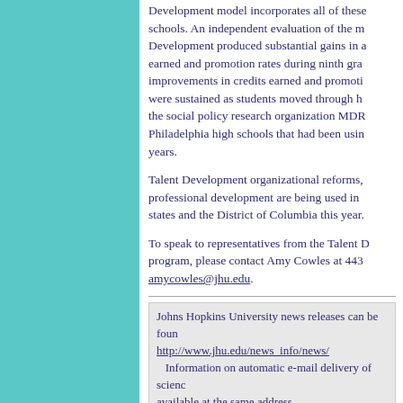Development model incorporates all of these schools. An independent evaluation of the m Development produced substantial gains in a earned and promotion rates during ninth gra improvements in credits earned and promoti were sustained as students moved through h the social policy research organization MDR Philadelphia high schools that had been usin years.
Talent Development organizational reforms, professional development are being used in states and the District of Columbia this year.
To speak to representatives from the Talent D program, please contact Amy Cowles at 443 amycowles@jhu.edu.
Johns Hopkins University news releases can be found at http://www.jhu.edu/news_info/news/ Information on automatic e-mail delivery of science news is available at the same address.
Go to Headlines@Hopkins Home Page